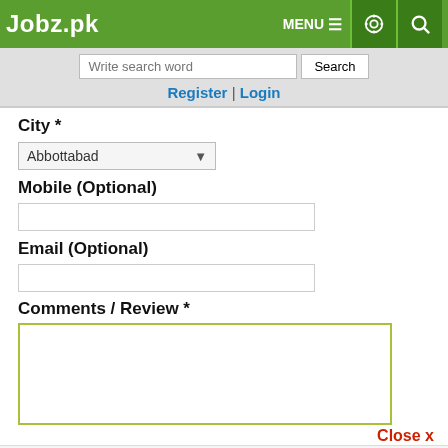Jobz.pk — MENU, settings, search icons
Write search word | Search
Register | Login
City *
Abbottabad (dropdown)
Mobile (Optional)
Email (Optional)
Comments / Review *
Close x
0  0  0  1  1  0 — Share WhatsApp Tweet Share Reddit Pin
Prizebond | Scholarship | Interns | Employers | Alerts | Login